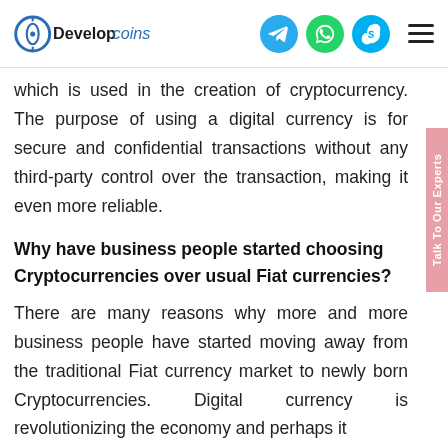Developcoins [logo with Telegram, WhatsApp, Skype icons and hamburger menu]
which is used in the creation of cryptocurrency. The purpose of using a digital currency is for secure and confidential transactions without any third-party control over the transaction, making it even more reliable.
Why have business people started choosing Cryptocurrencies over usual Fiat currencies?
There are many reasons why more and more business people have started moving away from the traditional Fiat currency market to newly born Cryptocurrencies. Digital currency is revolutionizing the economy and perhaps it